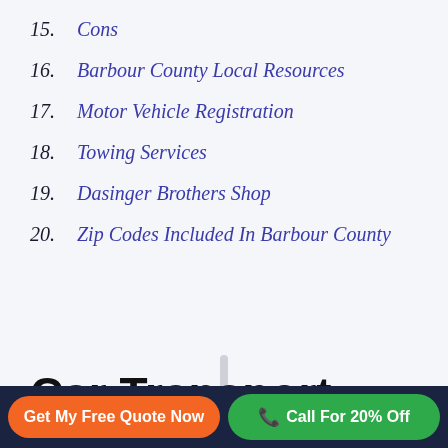15. Cons
16. Barbour County Local Resources
17. Motor Vehicle Registration
18. Towing Services
19. Dasinger Brothers Shop
20. Zip Codes Included In Barbour County
Car Transport Barbour County Near Me
Get My Free Quote Now
Call For 20% Off